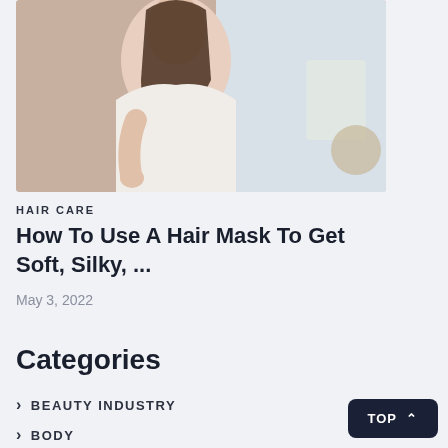[Figure (photo): Woman holding and styling her hair, blurred background with light-colored interior setting]
HAIR CARE
How To Use A Hair Mask To Get Soft, Silky, ...
May 3, 2022
Categories
BEAUTY INDUSTRY
BODY